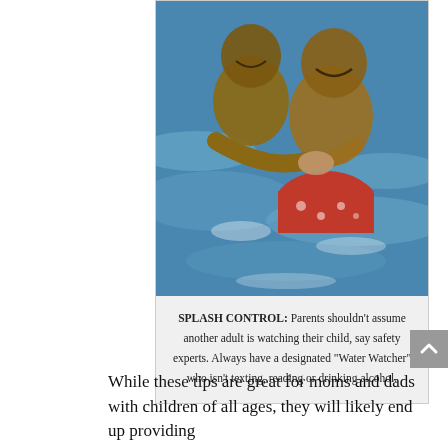[Figure (photo): Two children in a swimming pool. An older child holds a younger child in the water, both smiling. The younger child wears red swim trunks.]
SPLASH CONTROL: Parents shouldn't assume another adult is watching their child, say safety experts. Always have a designated "Water Watcher" who isn't texting, reading or drinking alcohol.
While these tips are great for moms and dads with children of all ages, they will likely end up providing the most amount of...